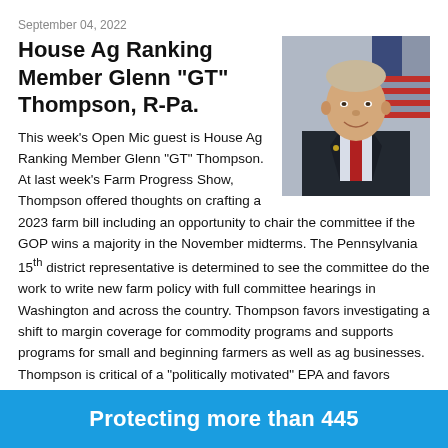September 04, 2022
House Ag Ranking Member Glenn "GT" Thompson, R-Pa.
[Figure (photo): Official portrait photo of Glenn 'GT' Thompson, a man in a dark suit with a red tie, smiling, with American flag in background]
This week's Open Mic guest is House Ag Ranking Member Glenn "GT" Thompson. At last week's Farm Progress Show, Thompson offered thoughts on crafting a 2023 farm bill including an opportunity to chair the committee if the GOP wins a majority in the November midterms. The Pennsylvania 15th district representative is determined to see the committee do the work to write new farm policy with full committee hearings in Washington and across the country. Thompson favors investigating a shift to margin coverage for commodity programs and supports programs for small and beginning farmers as well as ag businesses. Thompson is critical of a "politically motivated" EPA and favors renewable liquid fuels over mandates for electric vehicles.
LISTEN HERE
Protecting more than 445